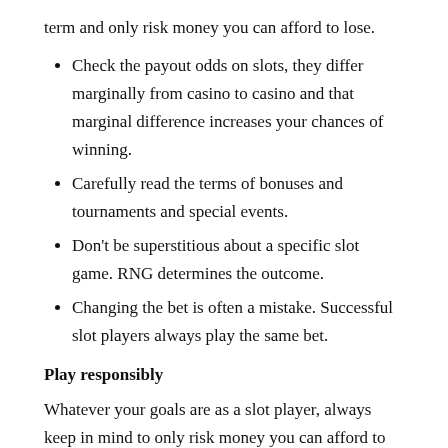term and only risk money you can afford to lose.
Check the payout odds on slots, they differ marginally from casino to casino and that marginal difference increases your chances of winning.
Carefully read the terms of bonuses and tournaments and special events.
Don't be superstitious about a specific slot game. RNG determines the outcome.
Changing the bet is often a mistake. Successful slot players always play the same bet.
Play responsibly
Whatever your goals are as a slot player, always keep in mind to only risk money you can afford to lose. Every type of gambling has its risks.